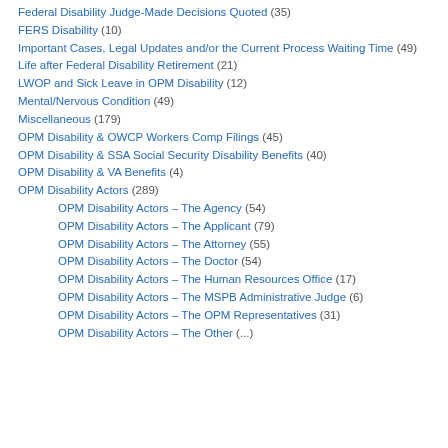Federal Disability Judge-Made Decisions Quoted (35)
FERS Disability (10)
Important Cases, Legal Updates and/or the Current Process Waiting Time (49)
Life after Federal Disability Retirement (21)
LWOP and Sick Leave in OPM Disability (12)
Mental/Nervous Condition (49)
Miscellaneous (179)
OPM Disability & OWCP Workers Comp Filings (45)
OPM Disability & SSA Social Security Disability Benefits (40)
OPM Disability & VA Benefits (4)
OPM Disability Actors (289)
OPM Disability Actors – The Agency (54)
OPM Disability Actors – The Applicant (79)
OPM Disability Actors – The Attorney (55)
OPM Disability Actors – The Doctor (54)
OPM Disability Actors – The Human Resources Office (17)
OPM Disability Actors – The MSPB Administrative Judge (6)
OPM Disability Actors – The OPM Representatives (31)
OPM Disability Actors – The Other (...)